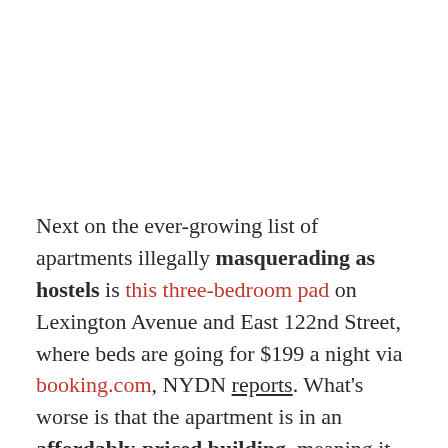Next on the ever-growing list of apartments illegally masquerading as hostels is this three-bedroom pad on Lexington Avenue and East 122nd Street, where beds are going for $199 a night via booking.com, NYDN reports. What's worse is that the apartment is in an affordably-priced building, meaning it seems that whomever is renting it is making a mean profit by illegally subletting an apartment that is needed direly by someone else. And